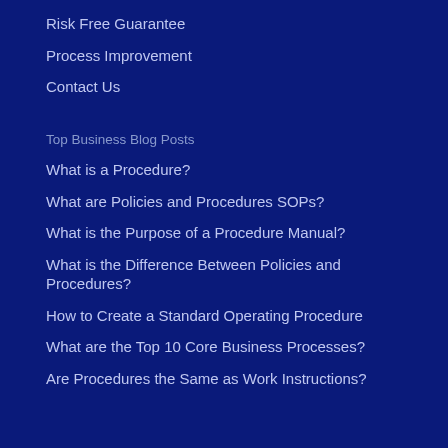Risk Free Guarantee
Process Improvement
Contact Us
Top Business Blog Posts
What is a Procedure?
What are Policies and Procedures SOPs?
What is the Purpose of a Procedure Manual?
What is the Difference Between Policies and Procedures?
How to Create a Standard Operating Procedure
What are the Top 10 Core Business Processes?
Are Procedures the Same as Work Instructions?